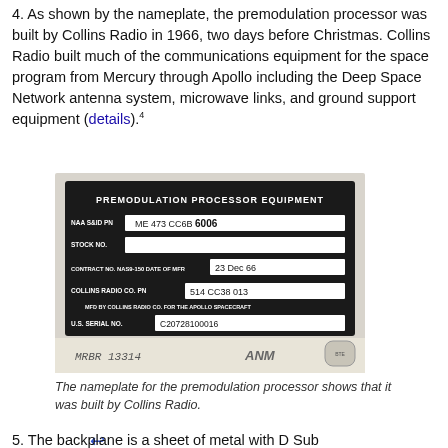4. As shown by the nameplate, the premodulation processor was built by Collins Radio in 1966, two days before Christmas. Collins Radio built much of the communications equipment for the space program from Mercury through Apollo including the Deep Space Network antenna system, microwave links, and ground support equipment (details).⁴
[Figure (photo): A black nameplate for Premodulation Processor Equipment showing: NAA S&ID PN: ME 473 CC6B 6006, STOCK NO. (blank), CONTRACT NO. NAS9-150 DATE OF MFR: 23 Dec 66, COLLINS RADIO CO. PN: 514 CC38 013, MFD BY COLLINS RADIO CO. FOR THE APOLLO SPACECRAFT, U.S. SERIAL NO.: C20728100016. Below the plate shows handwritten MRBR 13314 and ANM labels.]
The nameplate for the premodulation processor shows that it was built by Collins Radio.
5. The backplane is a sheet of metal with D Sub